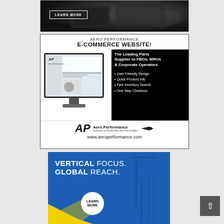[Figure (illustration): Dark cockpit/aircraft interior advertisement with a LEARN MORE button in white border]
[Figure (illustration): Aero Performance E-Commerce Website advertisement featuring a computer monitor showing their website, with text: 'AERO PERFORMANCE E-COMMERCE WEBSITE! The Leading Parts Supplier to FBOs, MROs & Corporate Operators. User Friendly Design, Quick Product Info, Fast Inventory Search, One Step Checkout. www.aeroperformance.com']
[Figure (illustration): Blue advertisement with text 'VERTICAL FOCUS. GLOBAL REACH.' and a LEARN MORE circle button with yellow diagonal design element]